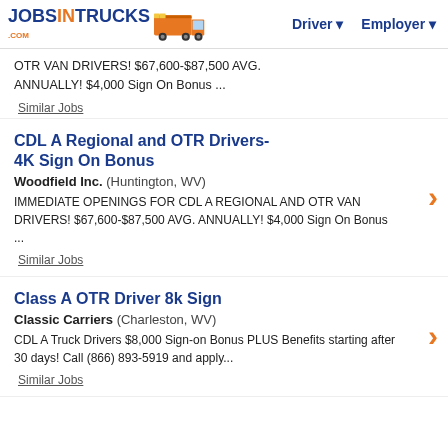JOBSINTRUCKS.COM | Driver | Employer
OTR VAN DRIVERS! $67,600-$87,500 AVG. ANNUALLY! $4,000 Sign On Bonus ...
Similar Jobs
CDL A Regional and OTR Drivers- 4K Sign On Bonus
Woodfield Inc. (Huntington, WV)
IMMEDIATE OPENINGS FOR CDL A REGIONAL AND OTR VAN DRIVERS! $67,600-$87,500 AVG. ANNUALLY! $4,000 Sign On Bonus ...
Similar Jobs
Class A OTR Driver 8k Sign
Classic Carriers (Charleston, WV)
CDL A Truck Drivers $8,000 Sign-on Bonus PLUS Benefits starting after 30 days! Call (866) 893-5919 and apply...
Similar Jobs